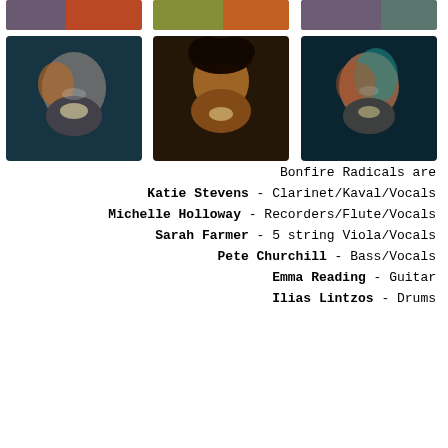[Figure (photo): Grid of six colorful artistic portraits of band members with teal, red, and orange lighting effects - top partial row and full middle row]
Bonfire Radicals are
Katie Stevens - Clarinet/Kaval/Vocals
Michelle Holloway - Recorders/Flute/Vocals
Sarah Farmer - 5 string Viola/Vocals
Pete Churchill - Bass/Vocals
Emma Reading - Guitar
Ilias Lintzos - Drums